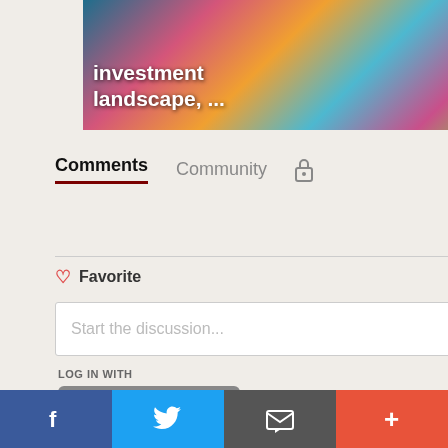[Figure (screenshot): Partial article thumbnail with colorful illustration and text 'investment landscape, ...' on left, and dark image with 'St... We...' on right]
Comments   Community   🔒
1  Login ▾
♡ Favorite      Sort by Best ▾
Start the discussion...
LOG IN WITH
[Figure (logo): Startacus grey button/logo]
[Figure (infographic): Social login icons: Disqus (D), Facebook (f), Twitter bird, Google (G)]
f  [Twitter bird]  [Email icon]  +